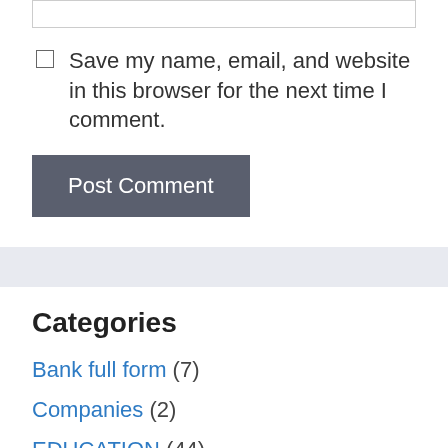Save my name, email, and website in this browser for the next time I comment.
Post Comment
Categories
Bank full form (7)
Companies (2)
EDUCATION (44)
Food (1)
fun (2)